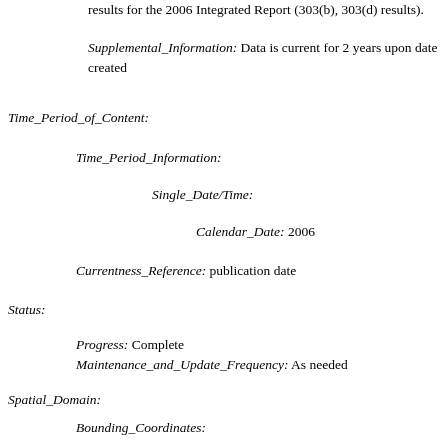results for the 2006 Integrated Report (303(b), 303(d) results).
Supplemental_Information: Data is current for 2 years upon date created
Time_Period_of_Content:
Time_Period_Information:
Single_Date/Time:
Calendar_Date: 2006
Currentness_Reference: publication date
Status:
Progress: Complete
Maintenance_and_Update_Frequency: As needed
Spatial_Domain:
Bounding_Coordinates:
West_Bounding_Coordinate: -75.644229
East_Bounding_Coordinate: -73.890357
North_Bounding_Coordinate: 41.258156